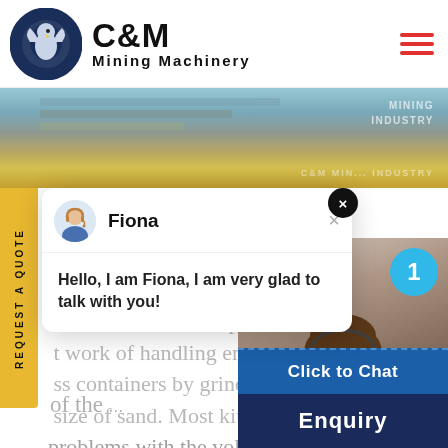[Figure (logo): C&M Mining Machinery logo with eagle in gear circle and company name]
[Figure (photo): Banner photo showing mining machinery equipment and C&M Mining Industry branding]
[Figure (screenshot): Chat popup with agent Fiona avatar and greeting message, plus agent photo with Click to Chat button]
...tric Features A Disperator glas... t work of handling empty bottle... ss containers by grinding them... size of sand. Most kitchens, bar... problems with the volume of waste... transport of waste glass is time co... of the ...